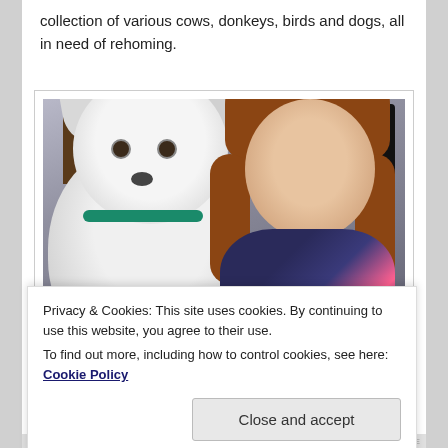collection of various cows, donkeys, birds and dogs, all in need of rehoming.
[Figure (photo): A young girl with brown hair hugging a large fluffy white dog. Indoor setting with furniture and electronics visible in the background.]
Privacy & Cookies: This site uses cookies. By continuing to use this website, you agree to their use.
To find out more, including how to control cookies, see here: Cookie Policy
Close and accept